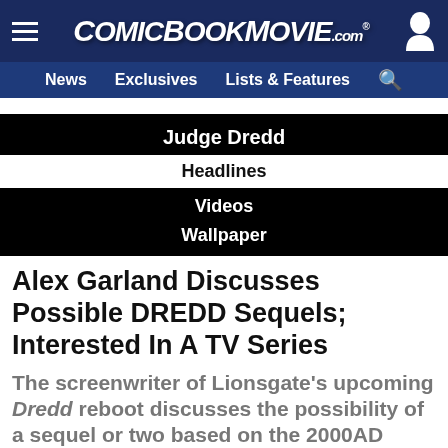ComicBookMovie.com
News | Exclusives | Lists & Features
Judge Dredd
Headlines
Videos
Wallpaper
Alex Garland Discusses Possible DREDD Sequels; Interested In A TV Series
The screenwriter of Lionsgate's upcoming Dredd reboot discusses the possibility of a sequel or two based on the 2000AD comic book character,